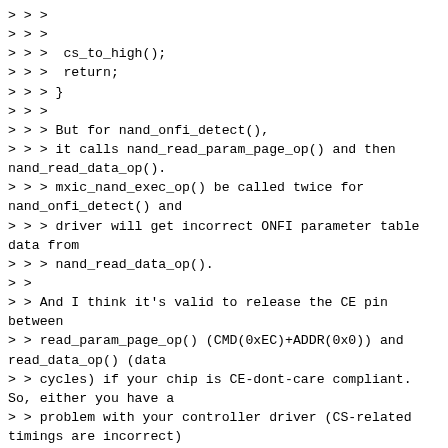>>>
>>>
>>>  cs_to_high();
>>>  return;
>>> }
>>>
>>> But for nand_onfi_detect(),
>>> it calls nand_read_param_page_op() and then nand_read_data_op().
>>> mxic_nand_exec_op() be called twice for nand_onfi_detect() and
>>> driver will get incorrect ONFI parameter table data from
>>> nand_read_data_op().
>>
>> And I think it's valid to release the CE pin between
>> read_param_page_op() (CMD(0xEC)+ADDR(0x0)) and read_data_op() (data
>> cycles) if your chip is CE-dont-care compliant. So, either you have a
>> problem with your controller driver (CS-related timings are incorrect)
>> or your chip is not CE-dont-care compliant.
>
> Understood, I will try to fix it on my NFC driver.

Before you do that, can you please try to understand where the problem
comes from and explain it to us? Hacking the NFC driver